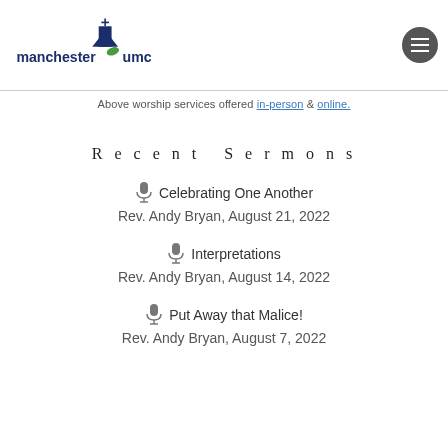[Figure (logo): Manchester UMC logo with church steeple and leaf icon]
Above worship services offered in-person & online.
Recent Sermons
🎤 Celebrating One Another
Rev. Andy Bryan, August 21, 2022
🎤 Interpretations
Rev. Andy Bryan, August 14, 2022
🎤 Put Away that Malice!
Rev. Andy Bryan, August 7, 2022